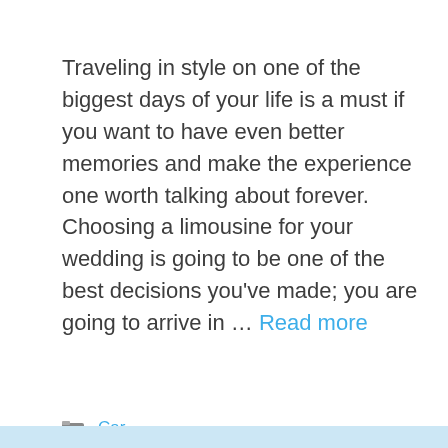Traveling in style on one of the biggest days of your life is a must if you want to have even better memories and make the experience one worth talking about forever. Choosing a limousine for your wedding is going to be one of the best decisions you've made; you are going to arrive in … Read more
Car
Cost, How Much, Limo, Rent, Service, Wedding